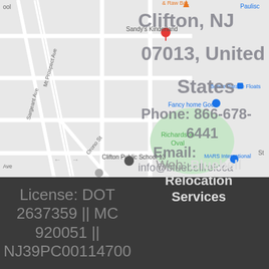[Figure (map): Google Maps screenshot showing Clifton, NJ area with streets including Mt Prospect Ave, Sargeant Ave, Orono St, locations like Sandy's Kinderland, Fancy home Good, Richardson Oval, Clifton Public School 13, MARS International, Bonce Parade Floats]
Clifton, NJ 07013, United States
Phone: 866-678-6441
Email: info@bluebellreloca
Web: Bluebell Relocation Services
License: DOT 2637359 || MC 920051 || NJ39PC00114700